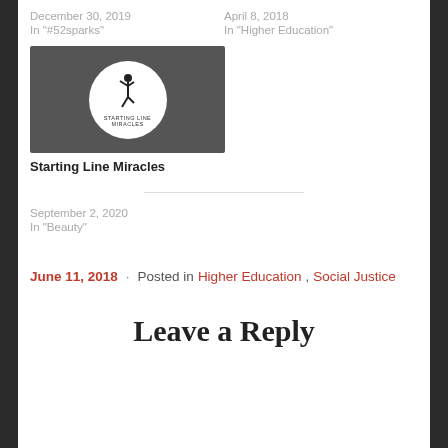December 30, 2019
In "#52sparks"
April 8, 2018
In "Higher Education"
[Figure (logo): Blog logo with stick figure running and text 'Starting Line Miracles' on a circular white background over dark gray rectangle]
Starting Line Miracles
September 2, 2020
In "Beauty"
June 11, 2018 · Posted in Higher Education, Social Justice
Leave a Reply